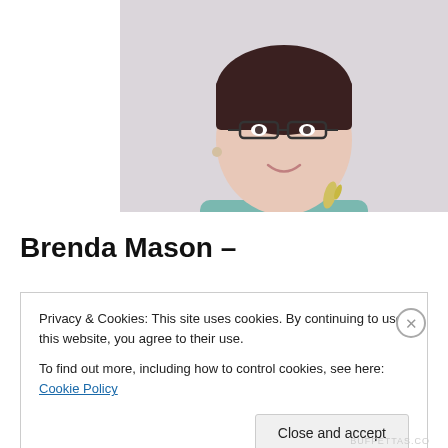[Figure (photo): Portrait photo of Brenda Mason, a woman with short dark hair, glasses, wearing a teal/light blue top with a brooch, smiling at camera against a light background]
Brenda Mason –
Privacy & Cookies: This site uses cookies. By continuing to use this website, you agree to their use.
To find out more, including how to control cookies, see here: Cookie Policy
Close and accept